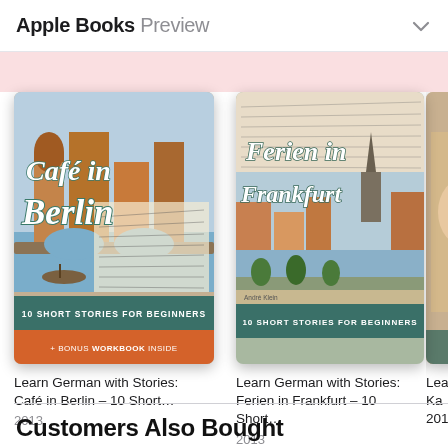Apple Books Preview
[Figure (screenshot): Book cover: Café in Berlin – 10 Short Stories for Beginners. Vintage postcard style illustration with teal title text and orange/teal band at bottom.]
Learn German with Stories: Café in Berlin – 10 Short...
2013
[Figure (screenshot): Book cover: Ferien in Frankfurt – 10 Short Stories for Beginners. Vintage postcard illustration of Frankfurt with teal title text.]
Learn German with Stories: Ferien in Frankfurt – 10 Short...
2013
[Figure (screenshot): Partial view of a third book cover (cropped), appears to show a person.]
Lea
Ka
201
Customers Also Bought